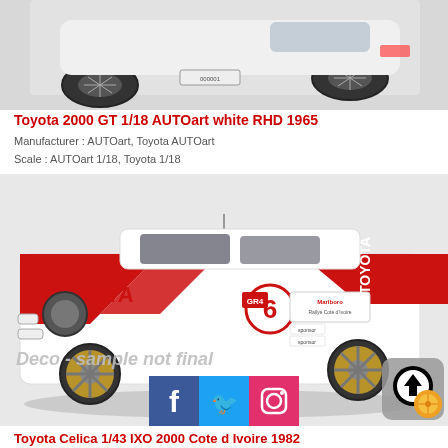[Figure (photo): White Toyota 2000 GT model car, 1/18 scale, rear three-quarter view showing wire wheels and rear bodywork]
Toyota 2000 GT 1/18 AUTOart white RHD 1965
Manufacturer : AUTOart, Toyota AUTOart
Scale : AUTOart 1/18, Toyota 1/18
[Figure (photo): White and red Toyota Celica rally car model, number 6, with Toyota livery, Cote d Ivoire 1982, labeled Deco - sample not final]
Toyota Celica 1/43 IXO 2000 Cote d Ivoire 1982